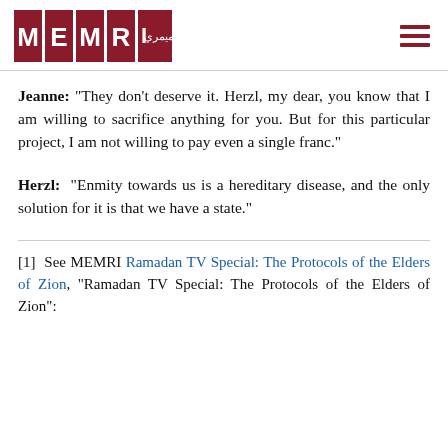MEMRI
Jeanne: "They don't deserve it. Herzl, my dear, you know that I am willing to sacrifice anything for you. But for this particular project, I am not willing to pay even a single franc."
Herzl: "Enmity towards us is a hereditary disease, and the only solution for it is that we have a state."
[1] See MEMRI Ramadan TV Special: The Protocols of the Elders of Zion, "Ramadan TV Special: The Protocols of the Elders of Zion":